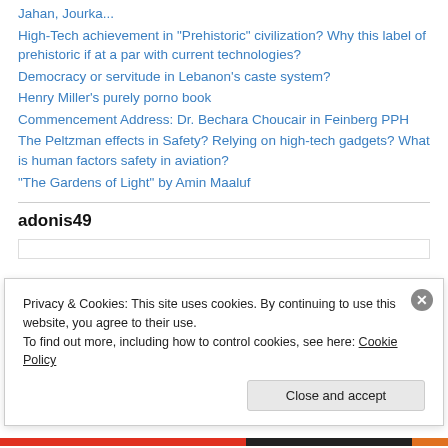Jahan, Jourka...
High-Tech achievement in "Prehistoric" civilization? Why this label of prehistoric if at a par with current technologies?
Democracy or servitude in Lebanon’s caste system?
Henry Miller’s purely porno book
Commencement Address: Dr. Bechara Choucair in Feinberg PPH
The Peltzman effects in Safety? Relying on high-tech gadgets? What is human factors safety in aviation?
“The Gardens of Light” by Amin Maaluf
adonis49
Privacy & Cookies: This site uses cookies. By continuing to use this website, you agree to their use.
To find out more, including how to control cookies, see here: Cookie Policy